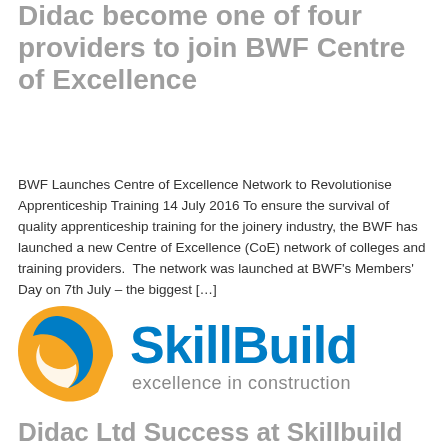Didac become one of four providers to join BWF Centre of Excellence
BWF Launches Centre of Excellence Network to Revolutionise Apprenticeship Training 14 July 2016 To ensure the survival of quality apprenticeship training for the joinery industry, the BWF has launched a new Centre of Excellence (CoE) network of colleges and training providers.  The network was launched at BWF's Members' Day on 7th July – the biggest […]
[Figure (logo): SkillBuild logo — orange and blue spiral/leaf icon on left, blue text 'SkillBuild' in bold, subtitle 'excellence in construction' in grey below]
Didac Ltd Success at Skillbuild